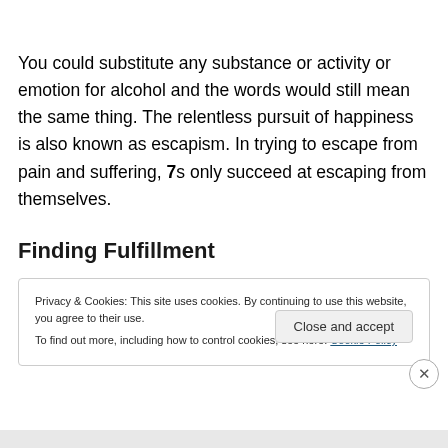You could substitute any substance or activity or emotion for alcohol and the words would still mean the same thing. The relentless pursuit of happiness is also known as escapism. In trying to escape from pain and suffering, 7s only succeed at escaping from themselves.
Finding Fulfillment
Privacy & Cookies: This site uses cookies. By continuing to use this website, you agree to their use.
To find out more, including how to control cookies, see here: Cookie Policy